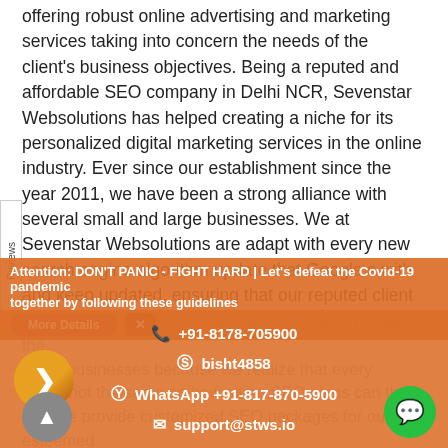offering robust online advertising and marketing services taking into concern the needs of the client's business objectives. Being a reputed and affordable SEO company in Delhi NCR, Sevenstar Websolutions has helped creating a niche for its personalized digital marketing services in the online industry. Ever since our establishment since the year 2011, we have been a strong alliance with several small and large businesses. We at Sevenstar Websolutions are adapt with every new search engine algorithm update that Google s with and keep updated, ensuring that our reputed client tes function remarkably well on the search engine.
Attention: DON'T PANIC - FIGHT HARD | Let's defeat the Covid-19 pandemic together by following these guidelines
packages offered by Sevenstar Websolutions are not the for all businesses because we realize that every ess is not the same so how same SEO plans can that's why we provide customized SEO packages for our esteemed clients if they want custom search engine optimization packages.
+91-8178-705900
bisht4858
WhatsApp +91-817-870-5900
support@stws.io